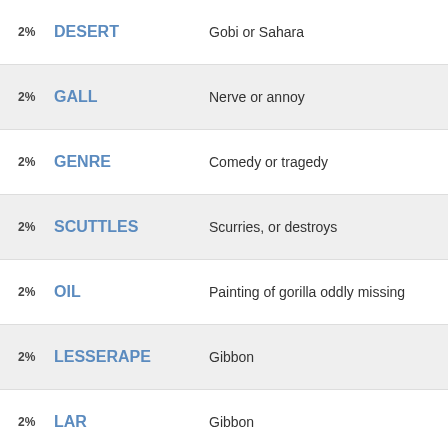2% DESERT — Gobi or Sahara
2% GALL — Nerve or annoy
2% GENRE — Comedy or tragedy
2% SCUTTLES — Scurries, or destroys
2% OIL — Painting of gorilla oddly missing
2% LESSERAPE — Gibbon
2% LAR — Gibbon
Refine the search results by specifying the number of letters. If certain letters are known already, you can provide them in the form of a pattern: "CA????".